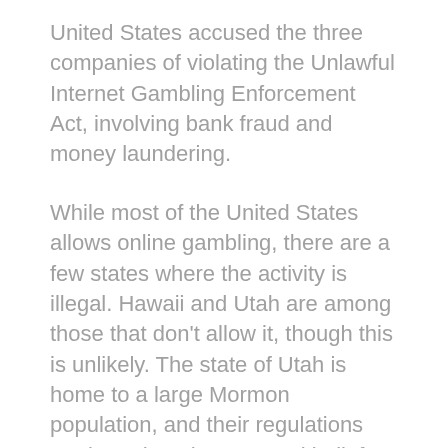United States accused the three companies of violating the Unlawful Internet Gambling Enforcement Act, involving bank fraud and money laundering.
While most of the United States allows online gambling, there are a few states where the activity is illegal. Hawaii and Utah are among those that don't allow it, though this is unlikely. The state of Utah is home to a large Mormon population, and their regulations are based on the personal beliefs of its residents. The state of Idaho has little interest in allowing gambling. This is a good thing, since it protects your privacy.
Getting started with online gambling is easy. All you need is a computer that has an internet